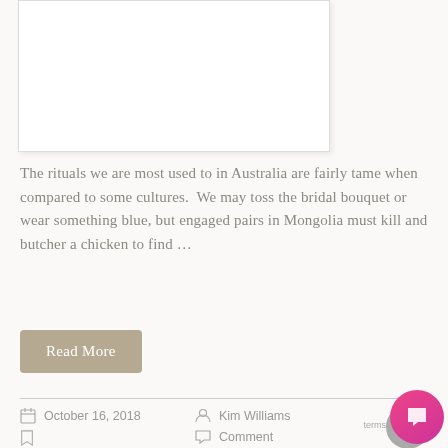[Figure (photo): White rectangular placeholder image with light border and shadow]
The rituals we are most used to in Australia are fairly tame when compared to some cultures.  We may toss the bridal bouquet or wear something blue, but engaged pairs in Mongolia must kill and butcher a chicken to find …
Read More
October 16, 2018
Kim Williams
Comment
Permalink to
How to Select Wedding Reception Caterers